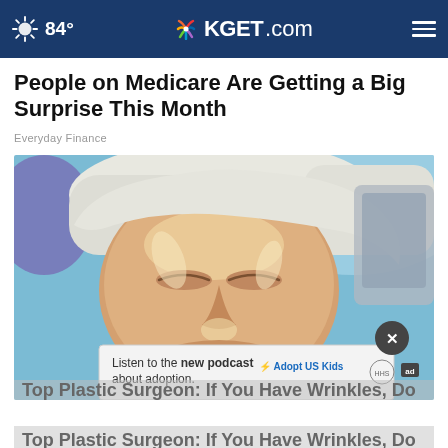84° KGET.com
People on Medicare Are Getting a Big Surprise This Month
Everyday Finance
[Figure (photo): Close-up photo of a woman lying down with eyes closed, face covered in a glossy treatment or gel, with a white towel around her head. Blue and blurred background behind her.]
Top Plastic Surgeon: If You Have Wrinkles, Do
Listen to the new podcast about adoption.